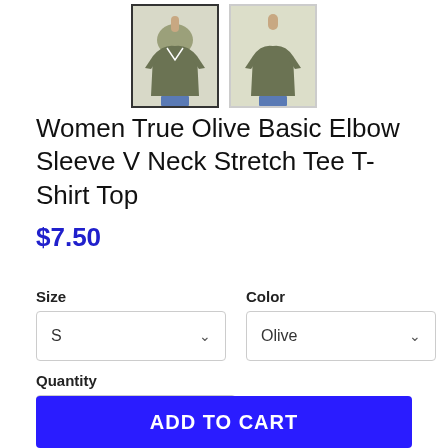[Figure (photo): Two thumbnail images of a women's olive green V-neck short sleeve t-shirt. First thumbnail has a dark border (selected), second has a lighter border showing the shirt from the back/side.]
Women True Olive Basic Elbow Sleeve V Neck Stretch Tee T-Shirt Top
$7.50
Size
S
Color
Olive
Quantity
1
ADD TO CART